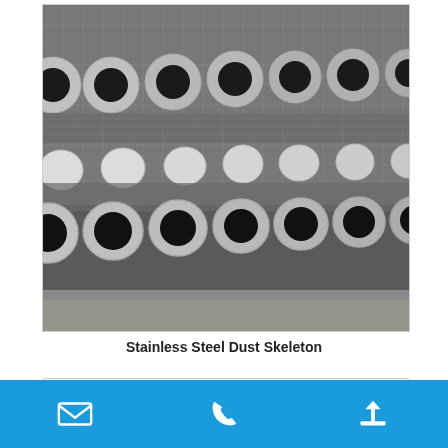[Figure (photo): Close-up photograph of stainless steel dust collector cage skeletons (bag filter frames) stacked together. Multiple rows of circular metal rings with wire mesh frames are visible, viewed from an angle showing the cylindrical openings and metal grid structure.]
Stainless Steel Dust Skeleton
[Figure (screenshot): Partial view of a search or input bar with light gray border, partially visible at the bottom of the content area.]